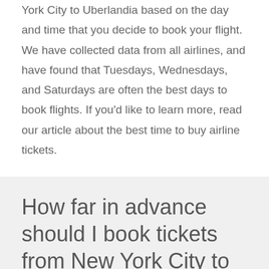York City to Uberlandia based on the day and time that you decide to book your flight. We have collected data from all airlines, and have found that Tuesdays, Wednesdays, and Saturdays are often the best days to book flights. If you'd like to learn more, read our article about the best time to buy airline tickets.
How far in advance should I book tickets from New York City to Uberlandia?
The chart below shows up-to-date information